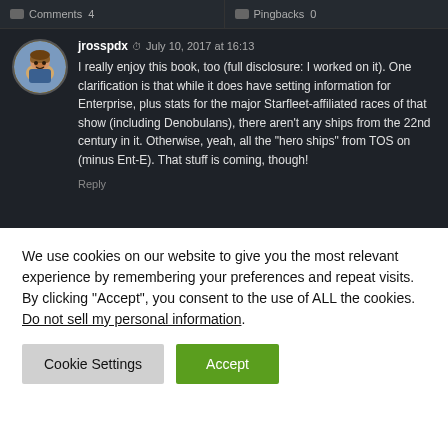Comments 4 | Pingbacks 0
jrosspdx  July 10, 2017 at 16:13
I really enjoy this book, too (full disclosure: I worked on it). One clarification is that while it does have setting information for Enterprise, plus stats for the major Starfleet-affiliated races of that show (including Denobulans), there aren't any ships from the 22nd century in it. Otherwise, yeah, all the "hero ships" from TOS on (minus Ent-E). That stuff is coming, though!
Reply
We use cookies on our website to give you the most relevant experience by remembering your preferences and repeat visits. By clicking “Accept”, you consent to the use of ALL the cookies.
Do not sell my personal information.
Cookie Settings
Accept